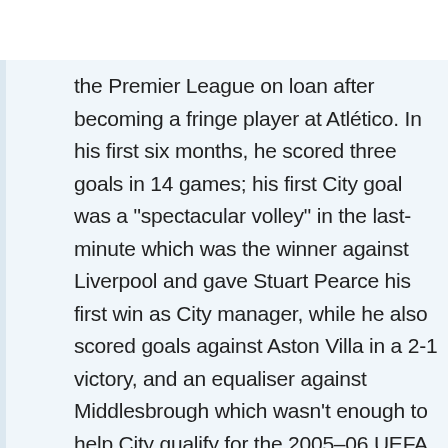the Premier League on loan after becoming a fringe player at Atlético. In his first six months, he scored three goals in 14 games; his first City goal was a "spectacular volley" in the last-minute which was the winner against Liverpool and gave Stuart Pearce his first win as City manager, while he also scored goals against Aston Villa in a 2-1 victory, and an equaliser against Middlesbrough which wasn't enough to help City qualify for the 2005–06 UEFA Cup.
In June 2005 Musampa agreed up to stay at Manchester City for a second season. The Dutchman started the new season as a regular first team player, but lost his first team place in December, after which he played